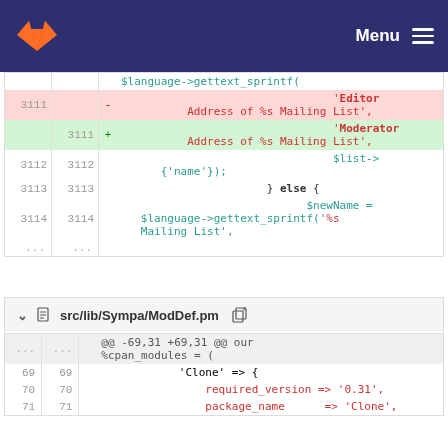GitLab — Menu
[Figure (screenshot): Code diff view showing changes to a PHP file. Lines 3111-3114 shown with a deletion of 'Editor Address of %s Mailing List' and addition of 'Moderator Address of %s Mailing List'. Lines 3112-3114 show $list->{'name'}); } else { $newName = $language->gettext_sprintf('%s Mailing List',]
[Figure (screenshot): File header for src/lib/Sympa/ModDef.pm with collapse chevron and copy icon.]
[Figure (screenshot): Code diff view for ModDef.pm. Meta row @@ -69,31 +69,31 @@ our %cpan_modules = (. Lines 69-71 show: 'Clone' => {, required_version => '0.31',, package_name => 'Clone',]